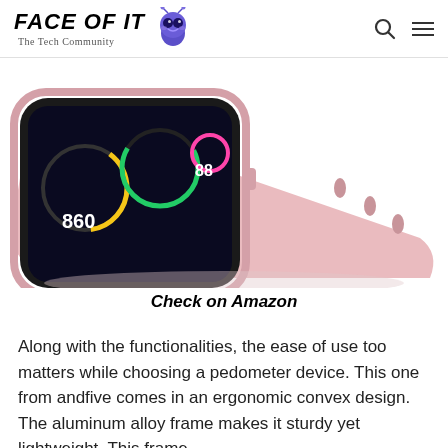FACE OF IT — The Tech Community
[Figure (photo): Pink smartwatch (andfive brand) shown at an angle, displaying a fitness/health screen with colorful circular gauges showing numbers 860 and 88, with a pink silicone band.]
Check on Amazon
Along with the functionalities, the ease of use too matters while choosing a pedometer device. This one from andfive comes in an ergonomic convex design. The aluminum alloy frame makes it sturdy yet lightweight. This frame